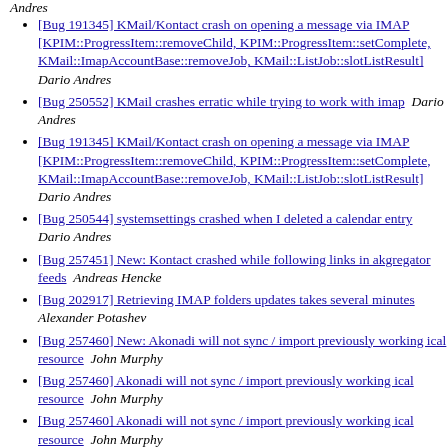[Bug 191345] KMail/Kontact crash on opening a message via IMAP [KPIM::ProgressItem::removeChild, KPIM::ProgressItem::setComplete, KMail::ImapAccountBase::removeJob, KMail::ListJob::slotListResult]  Dario Andres
[Bug 250552] KMail crashes erratic while trying to work with imap  Dario Andres
[Bug 191345] KMail/Kontact crash on opening a message via IMAP [KPIM::ProgressItem::removeChild, KPIM::ProgressItem::setComplete, KMail::ImapAccountBase::removeJob, KMail::ListJob::slotListResult]  Dario Andres
[Bug 250544] systemsettings crashed when I deleted a calendar entry  Dario Andres
[Bug 257451] New: Kontact crashed while following links in akgregator feeds  Andreas Hencke
[Bug 202917] Retrieving IMAP folders updates takes several minutes  Alexander Potashev
[Bug 257460] New: Akonadi will not sync / import previously working ical resource  John Murphy
[Bug 257460] Akonadi will not sync / import previously working ical resource  John Murphy
[Bug 257460] Akonadi will not sync / import previously working ical resource  John Murphy
[Bug 257362] KMail freezes randomly when Composing